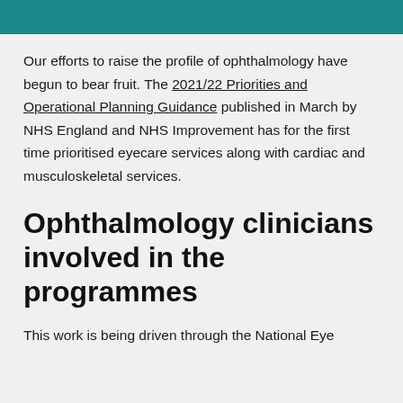Our efforts to raise the profile of ophthalmology have begun to bear fruit. The 2021/22 Priorities and Operational Planning Guidance published in March by NHS England and NHS Improvement has for the first time prioritised eyecare services along with cardiac and musculoskeletal services.
Ophthalmology clinicians involved in the programmes
This work is being driven through the National Eye